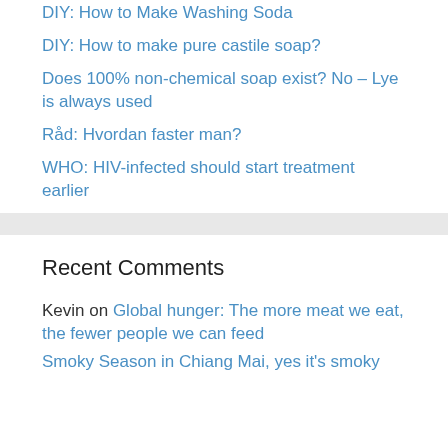DIY: How to Make Washing Soda
DIY: How to make pure castile soap?
Does 100% non-chemical soap exist? No – Lye is always used
Råd: Hvordan faster man?
WHO: HIV-infected should start treatment earlier
Recent Comments
Kevin on Global hunger: The more meat we eat, the fewer people we can feed
Smoky Season in Chiang Mai, yes it's smoky